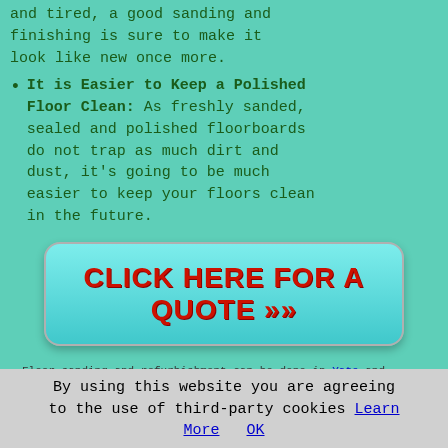and tired, a good sanding and finishing is sure to make it look like new once more.
It is Easier to Keep a Polished Floor Clean: As freshly sanded, sealed and polished floorboards do not trap as much dirt and dust, it's going to be much easier to keep your floors clean in the future.
[Figure (other): Cyan/teal rounded button with red bold text reading CLICK HERE FOR A QUOTE >>]
Floor sanding and refurbishment can be done in Yate and
By using this website you are agreeing to the use of third-party cookies Learn More   OK